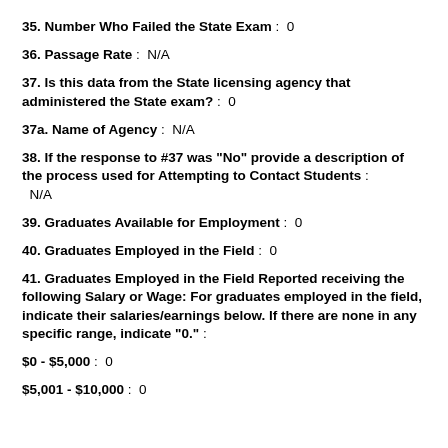35. Number Who Failed the State Exam: 0
36. Passage Rate: N/A
37. Is this data from the State licensing agency that administered the State exam?: 0
37a. Name of Agency: N/A
38. If the response to #37 was "No" provide a description of the process used for Attempting to Contact Students: N/A
39. Graduates Available for Employment: 0
40. Graduates Employed in the Field: 0
41. Graduates Employed in the Field Reported receiving the following Salary or Wage: For graduates employed in the field, indicate their salaries/earnings below. If there are none in any specific range, indicate "0.":
$0 - $5,000: 0
$5,001 - $10,000: 0